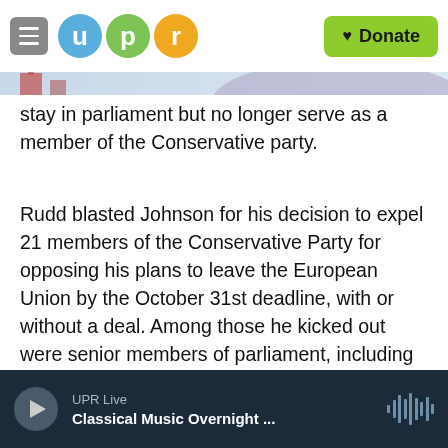[Figure (logo): UPR logo with hamburger menu, three colored circles spelling UPR, and green Donate button]
stay in parliament but no longer serve as a member of the Conservative party.
Rudd blasted Johnson for his decision to expel 21 members of the Conservative Party for opposing his plans to leave the European Union by the October 31st deadline, with or without a deal. Among those he kicked out were senior members of parliament, including Nicholas Soames, the grandson of Winston Churchill, and Ken Clarke, the longest serving member of Parliament. Some were notified of their firing via text message.
UPR Live
Classical Music Overnight ...